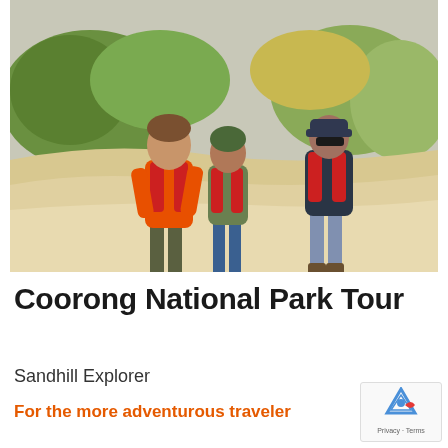[Figure (photo): Three people walking on sandy beach dunes wearing red life vests/PFDs. The person on the left wears a bright orange jacket and wading boots, the person in the middle wears a green jacket and appears barefoot, and the person on the right wears a dark jacket and cap with sunglasses. Sandy dunes and green coastal shrubs are visible in the background.]
Coorong National Park Tour
Sandhill Explorer
For the more adventurous traveler